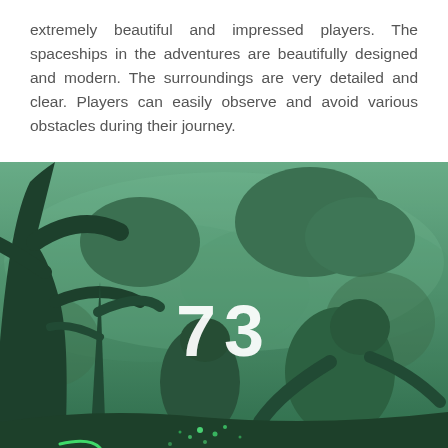extremely beautiful and impressed players. The spaceships in the adventures are beautifully designed and modern. The surroundings are very detailed and clear. Players can easily observe and avoid various obstacles during their journey.
[Figure (illustration): A green-toned low-poly style game scene showing a dark forest with large stylized trees and alien creatures in silhouette. A score or level number '73' is displayed prominently in the center in white bold text. The scene has a misty, layered depth effect with various shades of green.]